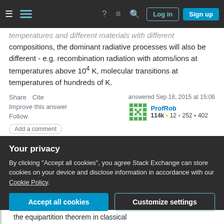Navigation bar with Stack Exchange logo, hamburger menu, question/inbox/search icons, Log in and Sign up buttons
temperatures and different materials with different compositions, the dominant radiative processes will also be different - e.g. recombination radiation with atoms/ions at temperatures above 10^4 K, molecular transitions at temperatures of hundreds of K.
Share   Cite
Improve this answer
Follow
Add a comment
answered Sep 18, 2015 at 15:06
ProfRob
114k ● 12 ● 252 ● 402
from There Are No Photons (self D...
Your privacy
By clicking "Accept all cookies", you agree Stack Exchange can store cookies on your device and disclose information in accordance with our Cookie Policy.
Accept all cookies   Customize settings
the equipartition theorem in classical